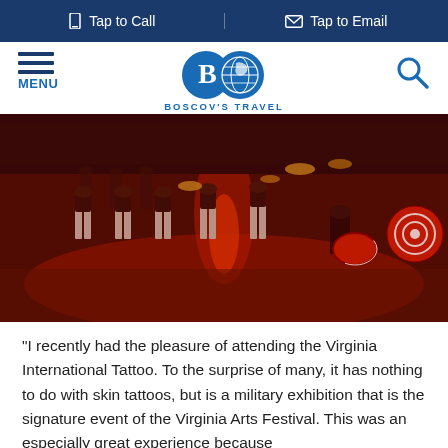Tap to Call | Tap to Email
[Figure (logo): Boscov's Travel logo with globe and B icon, BOSCOV'S TRAVEL text below]
[Figure (photo): Military marching band in red and black uniforms performing under dramatic red lighting at the Virginia International Tattoo]
“I recently had the pleasure of attending the Virginia International Tattoo.  To the surprise of many, it has nothing to do with skin tattoos, but is a military exhibition that is the signature event of the Virginia Arts Festival.  This was an especially great experience because